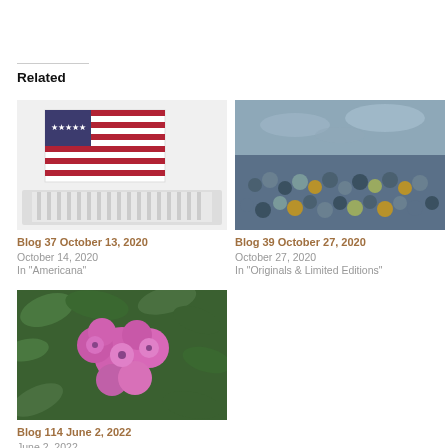Related
[Figure (photo): Blog 37 October 13 2020 thumbnail showing American flag and a white stadium/comb structure]
Blog 37 October 13, 2020
October 14, 2020
In "Americana"
[Figure (photo): Blog 39 October 27 2020 thumbnail showing a crowd of people painted in blue/grey tones]
Blog 39 October 27, 2020
October 27, 2020
In "Originals & Limited Editions"
[Figure (photo): Blog 114 June 2 2022 thumbnail showing bright pink rhododendron flowers with green leaves]
Blog 114 June 2, 2022
June 2, 2022
In "photo prints"